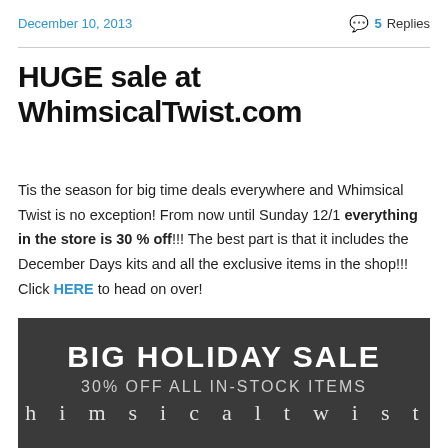December 10, 2013    💬 5 Replies
HUGE sale at WhimsicalTwist.com
Tis the season for big time deals everywhere and Whimsical Twist is no exception! From now until Sunday 12/1 everything in the store is 30 % off!!! The best part is that it includes the December Days kits and all the exclusive items in the shop!!! Click HERE to head on over!
[Figure (photo): Dark chalkboard-style banner reading 'BIG HOLIDAY SALE 30% OFF ALL IN-STOCK ITEMS' with partial text below]